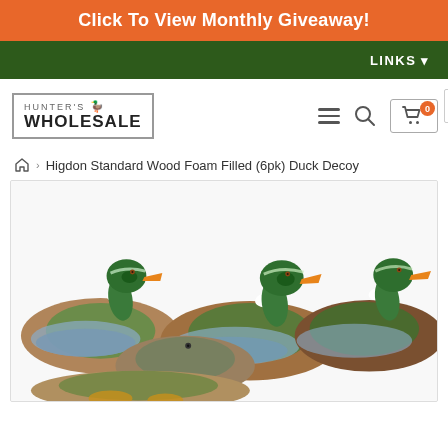Click To View Monthly Giveaway!
LINKS
[Figure (logo): Hunter's Wholesale logo in bordered box]
Higdon Standard Wood Foam Filled (6pk) Duck Decoy
[Figure (photo): Photo of Higdon Standard Wood Foam Filled duck decoys — multiple wood duck decoys with colorful green, brown, and white plumage displayed together]